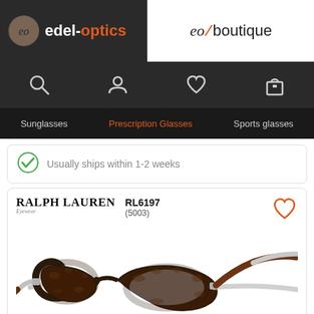[Figure (logo): edel-optics logo with dark background, circular eo icon and orange text]
[Figure (logo): eo / boutique logo in serif font with orange slash]
[Figure (infographic): Navigation icon bar with search, user, heart, and bag icons on dark background]
Sunglasses | Prescription Glasses | Sports glasses
Usually ships within 1-2 weeks
RALPH LAUREN RL6197 (5003)
[Figure (photo): Ralph Lauren RL6197 (5003) prescription eyeglasses, dark tortoise brown rectangular frames with silver temples, shown in 3/4 view]